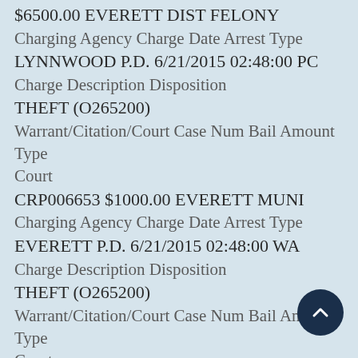$6500.00 EVERETT DIST FELONY
Charging Agency Charge Date Arrest Type
LYNNWOOD P.D. 6/21/2015 02:48:00 PC
Charge Description Disposition
THEFT (O265200)
Warrant/Citation/Court Case Num Bail Amount Type Court
CRP006653 $1000.00 EVERETT MUNI
Charging Agency Charge Date Arrest Type
EVERETT P.D. 6/21/2015 02:48:00 WA
Charge Description Disposition
THEFT (O265200)
Warrant/Citation/Court Case Num Bail Amount Type Court
CRP006651 $1000.00 EVERETT MUNI
Charging Agency Charge Date Arrest Type
EVERETT P.D. 6/21/2015 02:48:00 WA
Charge Description Disposition
POSSESSION OF DRUG PARAPHERNALIA (O738905) BAIL
Warrant/Citation/Court Case Num Bail Amount Type